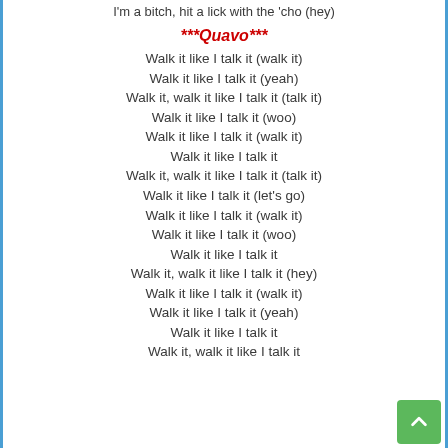I'm a bitch, hit a lick with the 'cho (hey)
***Quavo***
Walk it like I talk it (walk it)
Walk it like I talk it (yeah)
Walk it, walk it like I talk it (talk it)
Walk it like I talk it (woo)
Walk it like I talk it (walk it)
Walk it like I talk it
Walk it, walk it like I talk it (talk it)
Walk it like I talk it (let's go)
Walk it like I talk it (walk it)
Walk it like I talk it (woo)
Walk it like I talk it
Walk it, walk it like I talk it (hey)
Walk it like I talk it (walk it)
Walk it like I talk it (yeah)
Walk it like I talk it
Walk it, walk it like I talk it